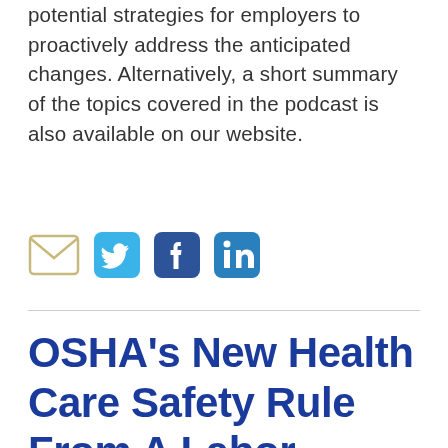potential strategies for employers to proactively address the anticipated changes. Alternatively, a short summary of the topics covered in the podcast is also available on our website.
[Figure (other): Social media share icons: email, Twitter, Facebook, LinkedIn]
OSHA's New Health Care Safety Rule From A Labor Perspective